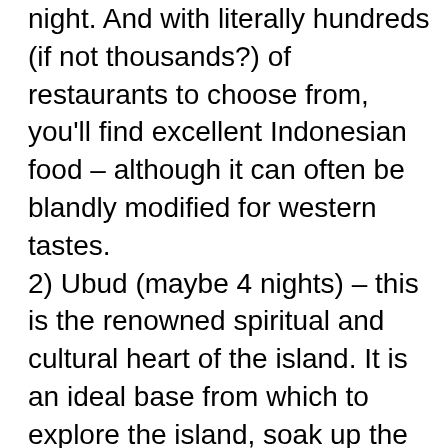night. And with literally hundreds (if not thousands?) of restaurants to choose from, you'll find excellent Indonesian food – although it can often be blandly modified for western tastes. 2) Ubud (maybe 4 nights) – this is the renowned spiritual and cultural heart of the island. It is an ideal base from which to explore the island, soak up the culture, and binge out on real Indonesian food, including Balinese food, such as 'babi guling' (roast pig). Ubud also has a surprisingly vibrant nightlife, with 6-7 bars and cafés all close by offering live music nightly. Quite tame compared to Kuta, which is more about DJs,